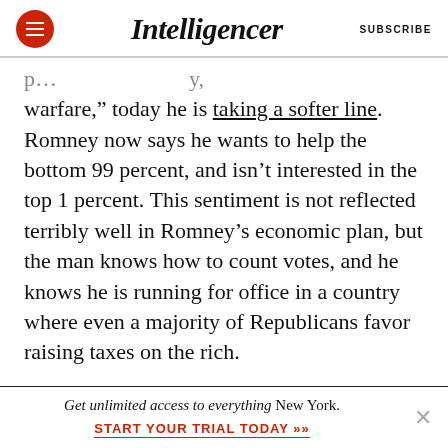Intelligencer | SUBSCRIBE
warfare,” today he is taking a softer line. Romney now says he wants to help the bottom 99 percent, and isn’t interested in the top 1 percent. This sentiment is not reflected terribly well in Romney’s economic plan, but the man knows how to count votes, and he knows he is running for office in a country where even a majority of Republicans favor raising taxes on the rich.
Other conservatives are obscuring the question by hauling out their time-worn statistical evasions.
Get unlimited access to everything New York. START YOUR TRIAL TODAY »»